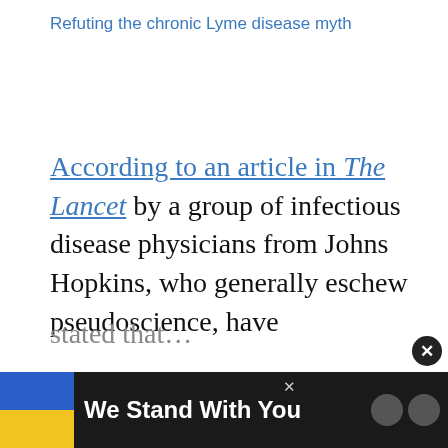Refuting the chronic Lyme disease myth
According to an article in The Lancet by a group of infectious disease physicians from Johns Hopkins, who generally eschew pseudoscience, have stated that…
Don't miss each new article!
[Figure (screenshot): Email newsletter signup box with placeholder text 'Email Address+']
[Figure (infographic): Ad banner with Ukraine flag colors (blue and yellow) and text 'We Stand With You' on dark background]